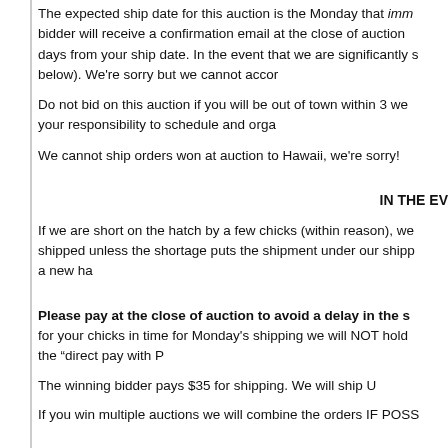The expected ship date for this auction is the Monday that imm bidder will receive a confirmation email at the close of auction days from your ship date. In the event that we are significantly s below). We're sorry but we cannot accor
Do not bid on this auction if you will be out of town within 3 we your responsibility to schedule and orga
We cannot ship orders won at auction to Hawaii, we're sorry!
IN THE EV
If we are short on the hatch by a few chicks (within reason), we shipped unless the shortage puts the shipment under our shipp a new ha
Please pay at the close of auction to avoid a delay in the s for your chicks in time for Monday's shipping we will NOT hold the “direct pay with P
The winning bidder pays $35 for shipping. We will ship U
If you win multiple auctions we will combine the orders IF POSS